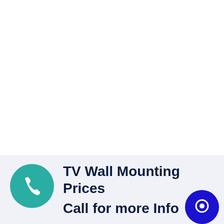[Figure (infographic): White background top section (blank)]
TV Wall Mounting Prices Call for more Info
[Figure (illustration): Teal circular phone icon button on the left]
[Figure (illustration): Dark blue circular chat icon button on the bottom right]